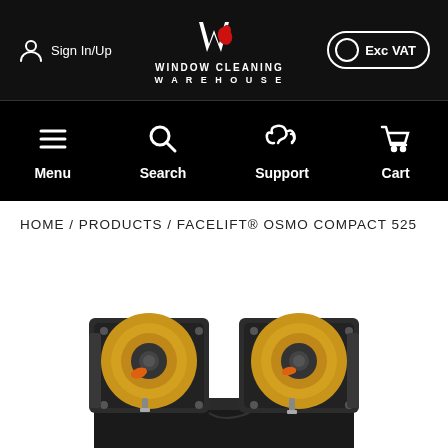Sign In/Up | Window Cleaning Warehouse | Exc VAT
Menu | Search | Support | Cart
HOME / PRODUCTS / FACELIFT® OSMO COMPACT 525
[Figure (photo): Two yellow hose reels mounted on a black compact unit - Facelift Osmo Compact 525 product photo]